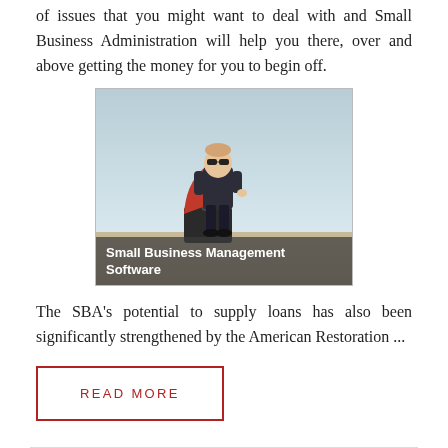of issues that you might want to deal with and Small Business Administration will help you there, over and above getting the money for you to begin off.
[Figure (photo): A child dressed in a superhero cape and suit standing on a surface, with text overlay reading 'Small Business Management Software']
The SBA’s potential to supply loans has also been significantly strengthened by the American Restoration ...
READ MORE